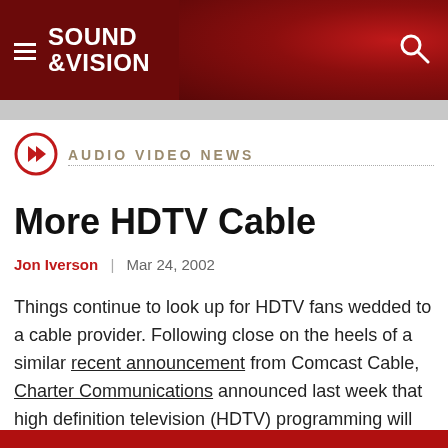[Figure (logo): Sound & Vision magazine logo — white bold text on dark red header background with hamburger menu icon and search icon]
AUDIO VIDEO NEWS
More HDTV Cable
Jon Iverson | Mar 24, 2002
Things continue to look up for HDTV fans wedded to a cable provider. Following close on the heels of a similar recent announcement from Comcast Cable, Charter Communications announced last week that high definition television (HDTV) programming will be made available to some of its customers during the second quarter of this year.